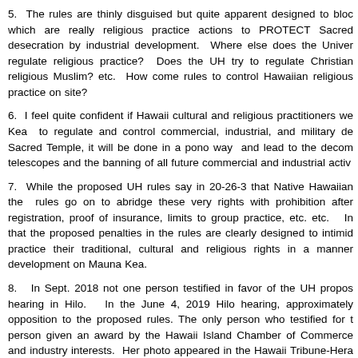5.  The rules are thinly disguised but quite apparent designed to block which are really religious practice actions to PROTECT Sacred desecration by industrial development.  Where else does the University regulate religious practice?  Does the UH try to regulate Christian religious practice? Muslim? etc.  How come rules to control Hawaiian religious practice on site?
6.  I feel quite confident if Hawaii cultural and religious practitioners were given authority over Mauna Kea  to regulate and control commercial, industrial, and military development on this Sacred Temple, it will be done in a pono way  and lead to the decommissioning of the telescopes and the banning of all future commercial and industrial activity.
7.  While the proposed UH rules say in 20-26-3 that Native Hawaiian rights are protected, the  rules go on to abridge these very rights with prohibition after prohibition: registration, proof of insurance, limits to group practice, etc. etc.   In fact, I believe that the proposed penalties in the rules are clearly designed to intimidate Hawaiians who practice their traditional, cultural and religious rights in a manner that opposes development on Mauna Kea.
8.  In Sept. 2018 not one person testified in favor of the UH proposed rules at the hearing in Hilo.   In the June 4, 2019 Hilo hearing, approximately everyone testified in opposition to the proposed rules. The only person who testified for the rules was a person given an award by the Hawaii Island Chamber of Commerce for promoting business and industry interests.  Her photo appeared in the Hawaii Tribune-Herald newspaper the very day of the Hilo UH rules hearing –June 4, 2019.